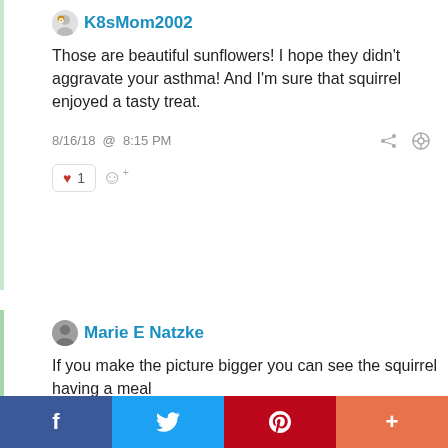K8sMom2002
Those are beautiful sunflowers! I hope they didn't aggravate your asthma! And I'm sure that squirrel enjoyed a tasty treat.
8/16/18 @ 8:15 PM
♥ 1
Marie E Natzke
If you make the picture bigger you can see the squirrel having a meal
[Figure (photo): Partial photo showing what appears to be a squirrel on a surface, image is cropped]
f
🐦
P
+